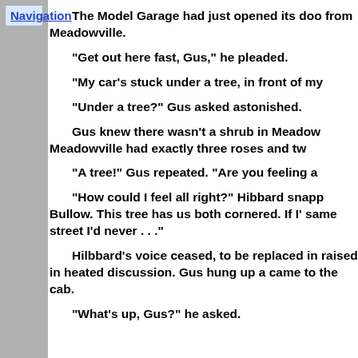Navigation
The Model Garage had just opened its doors… from Meadowville.
"Get out here fast, Gus," he pleaded.
"My car's stuck under a tree, in front of my…
"Under a tree?" Gus asked astonished.
Gus knew there wasn't a shrub in Meadow… Meadowville had exactly three roses and tw…
"A tree!" Gus repeated.  "Are you feeling a…
"How could I feel all right?" Hibbard snapp… Bullow.  This tree has us both cornered.  If I'… same street I'd never . . ."
Hilbbard's voice ceased, to be replaced in… raised in heated discussion.  Gus hung up a… came to the cab.
"What's up, Gus?" he asked.